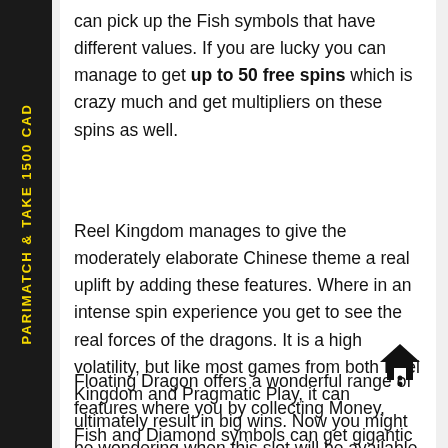can pick up the Fish symbols that have different values. If you are lucky you can manage to get up to 50 free spins which is crazy much and get multipliers on these spins as well.
Reel Kingdom manages to give the moderately elaborate Chinese theme a real uplift by adding these features. Where in an intense spin experience you get to see the real forces of the dragons. It is a high volatility, but like most games from both Reel Kingdom and Pragmatic Play, it can ultimately result in big wins. Now you might be wondering when this slot will be available to play? From 15 April 2021 you can take part in it at selected casino slot providers.
Floating Dragon offers a wonderful range of features where you by collecting Money, Fish and Diamond symbols can get gigantic prizes.
[Figure (illustration): House/home icon with three dots below, pointing upward]